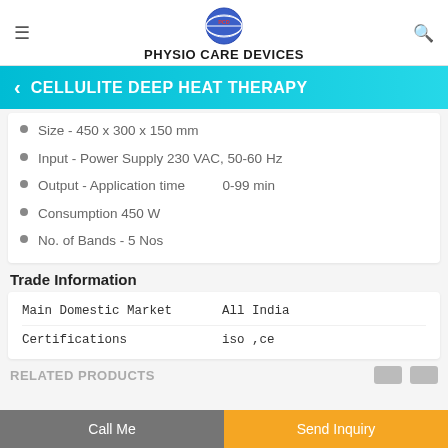PHYSIO CARE DEVICES
CELLULITE DEEP HEAT THERAPY
Size - 450 x 300 x 150 mm
Input - Power Supply 230 VAC, 50-60 Hz
Output - Application time    0-99 min
Consumption 450 W
No. of Bands  - 5 Nos
Trade Information
|  |  |
| --- | --- |
| Main Domestic Market | All India |
| Certifications | iso ,ce |
RELATED PRODUCTS